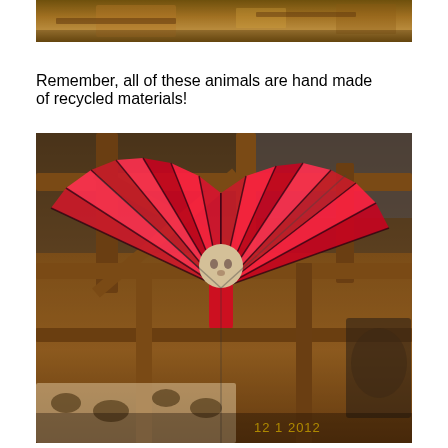[Figure (photo): Partial view of handmade animal sculptures in a room, cropped at the top of the page]
Remember, all of these animals are hand made of recycled materials!
[Figure (photo): Photo dated 12/1/2012 showing a handmade bird or angel sculpture with large red fan-like wings made from recycled materials, hanging from wooden beams in a room. Timestamp reads '12 1 2012' in yellow.]